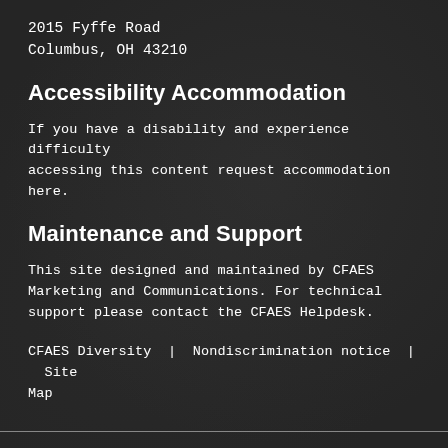2015 Fyffe Road
Columbus, OH 43210
Accessibility Accommodation
If you have a disability and experience difficulty accessing this content request accommodation here.
Maintenance and Support
This site designed and maintained by CFAES Marketing and Communications. For technical support please contact the CFAES Helpdesk.
CFAES Diversity  |  Nondiscrimination notice  |  Site Map